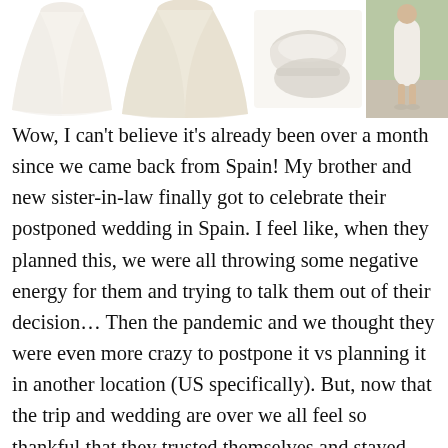[Figure (photo): Row of fashion/wedding items: two tulle skirts (white and cream), a pair of white flat shoes, and a photo of a person in a white dress outdoors]
Wow, I can't believe it's already been over a month since we came back from Spain! My brother and new sister-in-law finally got to celebrate their postponed wedding in Spain. I feel like, when they planned this, we were all throwing some negative energy for them and trying to talk them out of their decision… Then the pandemic and we thought they were even more crazy to postpone it vs planning it in another location (US specifically). But, now that the trip and wedding are over we all feel so thankful that they trusted themselves and stayed strong in their decision. It was BEAUTIFUL! To have so many of our family members in the same villa to celebrate love – it was so amazing!